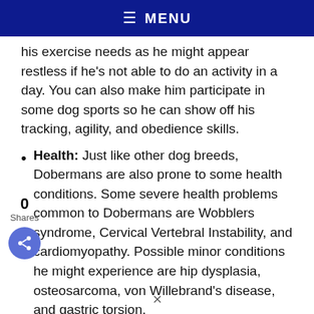≡ MENU
his exercise needs as he might appear restless if he's not able to do an activity in a day. You can also make him participate in some dog sports so he can show off his tracking, agility, and obedience skills.
Health: Just like other dog breeds, Dobermans are also prone to some health conditions. Some severe health problems common to Dobermans are Wobblers syndrome, Cervical Vertebral Instability, and cardiomyopathy. Possible minor conditions he might experience are hip dysplasia, osteosarcoma, von Willebrand's disease, and gastric torsion.